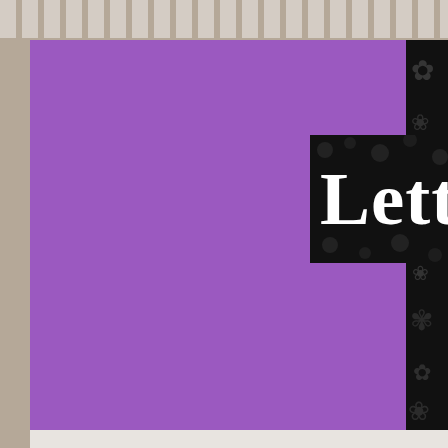[Figure (screenshot): Website header with purple background and decorative black-and-white floral logo reading 'Letter to G']
Home
Write to God
Read Letters
About
Contact
Regular Writer Iris
Found 585 letter/s. Page 2 of 59.
Prev   1   2   3   ...Last